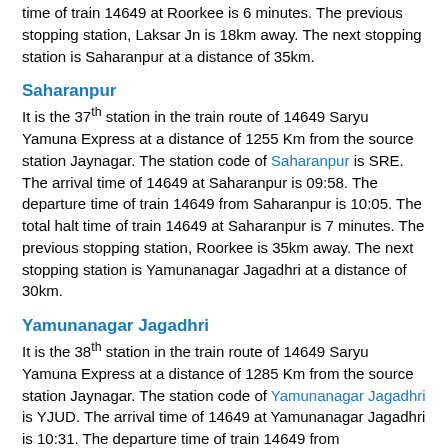time of train 14649 at Roorkee is 6 minutes. The previous stopping station, Laksar Jn is 18km away. The next stopping station is Saharanpur at a distance of 35km.
Saharanpur
It is the 37th station in the train route of 14649 Saryu Yamuna Express at a distance of 1255 Km from the source station Jaynagar. The station code of Saharanpur is SRE. The arrival time of 14649 at Saharanpur is 09:58. The departure time of train 14649 from Saharanpur is 10:05. The total halt time of train 14649 at Saharanpur is 7 minutes. The previous stopping station, Roorkee is 35km away. The next stopping station is Yamunanagar Jagadhri at a distance of 30km.
Yamunanagar Jagadhri
It is the 38th station in the train route of 14649 Saryu Yamuna Express at a distance of 1285 Km from the source station Jaynagar. The station code of Yamunanagar Jagadhri is YJUD. The arrival time of 14649 at Yamunanagar Jagadhri is 10:31. The departure time of train 14649 from Yamunanagar Jagadhri is 10:33. The total halt time of train 14649 at Yamunanagar Jagadhri is 2 minutes.